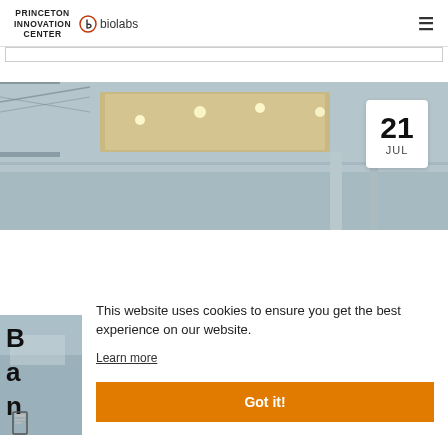PRINCETON INNOVATION CENTER biolabs
[Figure (photo): Interior photo of Princeton Innovation Center BioLabs space showing ceiling with recessed lights, structural beams, wood panel ceiling sections. Date badge in top right corner showing '21 JUL'.]
This website uses cookies to ensure you get the best experience on our website.
Learn more
Got it!